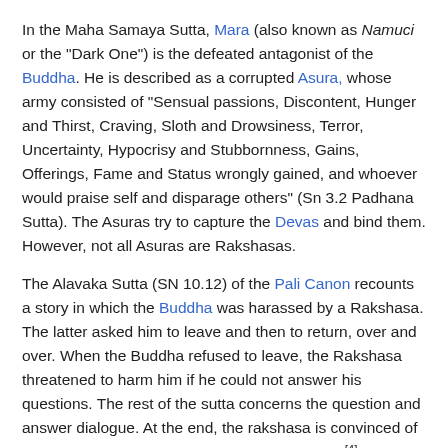In the Maha Samaya Sutta, Mara (also known as Namuci or the "Dark One") is the defeated antagonist of the Buddha. He is described as a corrupted Asura, whose army consisted of "Sensual passions, Discontent, Hunger and Thirst, Craving, Sloth and Drowsiness, Terror, Uncertainty, Hypocrisy and Stubbornness, Gains, Offerings, Fame and Status wrongly gained, and whoever would praise self and disparage others" (Sn 3.2 Padhana Sutta). The Asuras try to capture the Devas and bind them. However, not all Asuras are Rakshasas.
The Alavaka Sutta (SN 10.12) of the Pali Canon recounts a story in which the Buddha was harassed by a Rakshasa. The latter asked him to leave and then to return, over and over. When the Buddha refused to leave, the Rakshasa threatened to harm him if he could not answer his questions. The rest of the sutta concerns the question and answer dialogue. At the end, the rakshasa is convinced of the Buddha's holiness and becomes a follower.[4] Sri Lankan (Sinhala) ancestral legends refer to Yakshas as well.
One of Buddha's ten titles is "Sasta deva manusanam", meaning the teacher of gods and men.